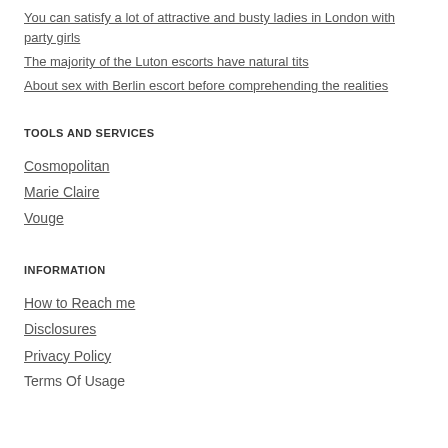You can satisfy a lot of attractive and busty ladies in London with party girls
The majority of the Luton escorts have natural tits
About sex with Berlin escort before comprehending the realities
TOOLS AND SERVICES
Cosmopolitan
Marie Claire
Vouge
INFORMATION
How to Reach me
Disclosures
Privacy Policy
Terms Of Usage